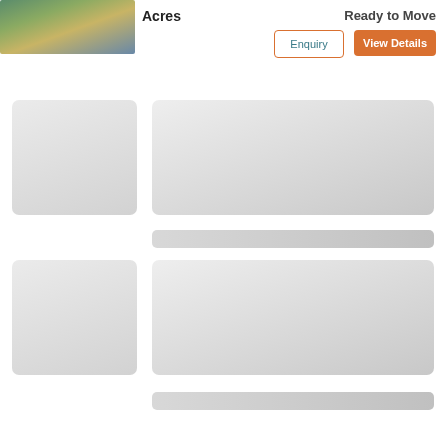[Figure (photo): Thumbnail photo of a real estate property showing a road/street view with greenery]
Acres
Ready to Move
Enquiry
View Details
[Figure (other): Gray placeholder card (small, left)]
[Figure (other): Gray placeholder card (large, right)]
[Figure (other): Gray placeholder bar (mid right)]
[Figure (other): Gray placeholder card (small, left, lower)]
[Figure (other): Gray placeholder card (large, right, lower)]
[Figure (other): Gray placeholder bar (bottom right)]